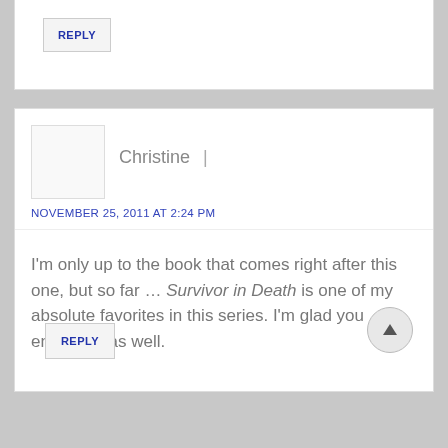REPLY
Christine |
NOVEMBER 25, 2011 AT 2:24 PM
I'm only up to the book that comes right after this one, but so far ... Survivor in Death is one of my absolute favorites in this series. I'm glad you enjoyed it as well.
REPLY